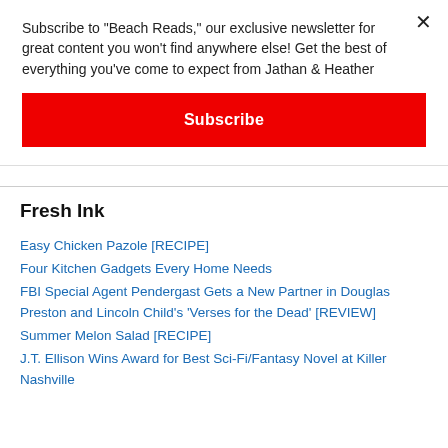Subscribe to "Beach Reads," our exclusive newsletter for great content you won't find anywhere else! Get the best of everything you've come to expect from Jathan & Heather
Subscribe
Fresh Ink
Easy Chicken Pazole [RECIPE]
Four Kitchen Gadgets Every Home Needs
FBI Special Agent Pendergast Gets a New Partner in Douglas Preston and Lincoln Child's 'Verses for the Dead' [REVIEW]
Summer Melon Salad [RECIPE]
J.T. Ellison Wins Award for Best Sci-Fi/Fantasy Novel at Killer Nashville